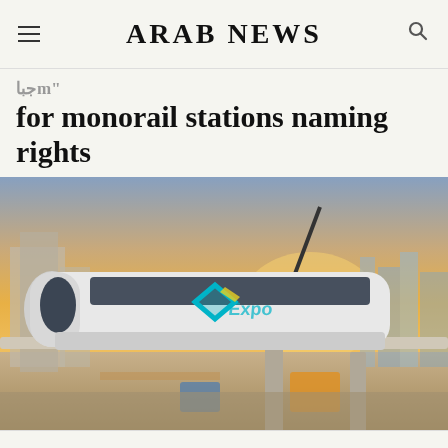ARAB NEWS
for monorail stations naming rights
[Figure (photo): A white monorail train with teal and yellow decorative graphics on its side, traveling on an elevated track at sunset, with a construction site and city skyline in the background.]